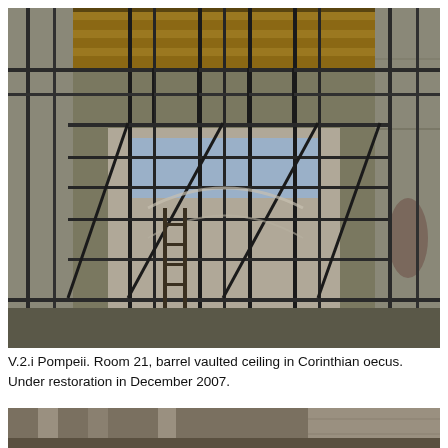[Figure (photo): Interior view looking up at scaffolding and metal framework supporting a barrel vaulted ceiling in Room 21 (Corinthian oecus) at V.2.i Pompeii. Wooden ceiling planks visible at top, metal pipe scaffolding fills the space, ancient masonry walls on sides, partial view of barrel vault structure in center background. Photo taken during restoration works.]
V.2.i Pompeii. Room 21, barrel vaulted ceiling in Corinthian oecus. Under restoration in December 2007.
[Figure (photo): Partial view of another interior space at Pompeii showing columns and masonry walls, cropped at bottom of page.]